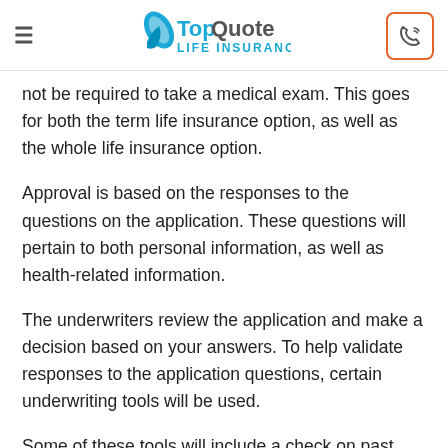TopQuote LIFE INSURANCE
not be required to take a medical exam. This goes for both the term life insurance option, as well as the whole life insurance option.
Approval is based on the responses to the questions on the application. These questions will pertain to both personal information, as well as health-related information.
The underwriters review the application and make a decision based on your answers. To help validate responses to the application questions, certain underwriting tools will be used.
Some of these tools will include a check on past and currently prescribed medications, use of electronic search